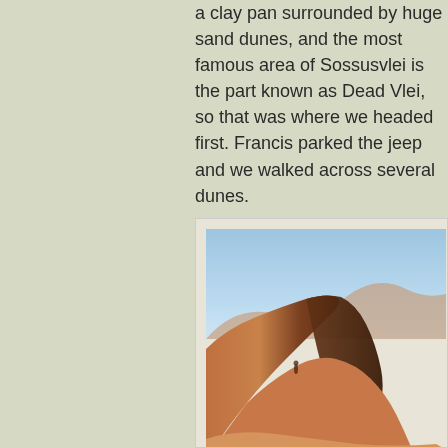a clay pan surrounded by huge sand dunes, and the most famous area of Sossusvlei is the part known as Dead Vlei, so that was where we headed first. Francis parked the jeep and we walked across several dunes.
[Figure (photo): A photograph of large red-orange sand dunes in Sossusvlei, Namibia, with a clear blue sky in the upper portion. The dunes show dramatic ridgelines and shadow patterns, with sparse desert vegetation visible at the base.]